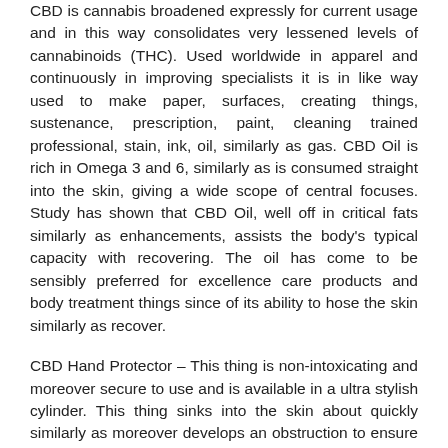CBD is cannabis broadened expressly for current usage and in this way consolidates very lessened levels of cannabinoids (THC). Used worldwide in apparel and continuously in improving specialists it is in like way used to make paper, surfaces, creating things, sustenance, prescription, paint, cleaning trained professional, stain, ink, oil, similarly as gas. CBD Oil is rich in Omega 3 and 6, similarly as is consumed straight into the skin, giving a wide scope of central focuses. Study has shown that CBD Oil, well off in critical fats similarly as enhancements, assists the body's typical capacity with recovering. The oil has come to be sensibly preferred for excellence care products and body treatment things since of its ability to hose the skin similarly as recover.
CBD Hand Protector – This thing is non-intoxicating and moreover secure to use and is available in a ultra stylish cylinder. This thing sinks into the skin about quickly similarly as moreover develops an obstruction to ensure about your hands too Made usage of one also perhaps the most thoroughly dry hand (mine!), the constructive outcomes thoroughly had the option to be felt after just about...